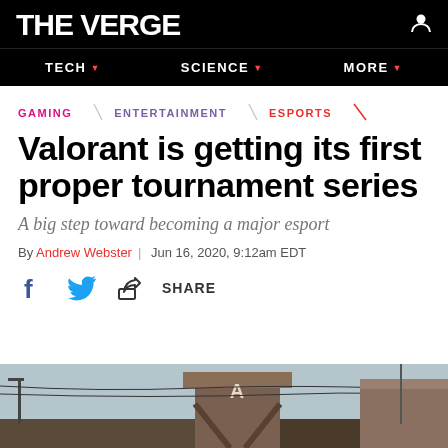THE VERGE
TECH | SCIENCE | MORE
GAMING \ ENTERTAINMENT \ ESPORTS
Valorant is getting its first proper tournament series
A big step toward becoming a major esport
By Andrew Webster | Jun 16, 2020, 9:12am EDT
[Figure (screenshot): Social share icons: Facebook, Twitter, and a share icon with the label SHARE]
[Figure (photo): Bottom portion of a Valorant game scene showing a tower with the letter A and street elements]